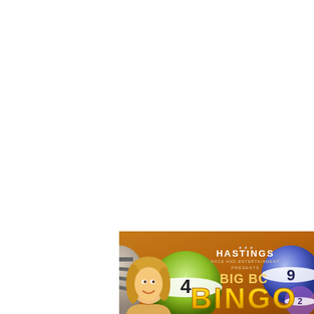[Figure (illustration): Advertising banner for 'Big BC Bingo' presented by Hastings Race and Entertainment. Features a smiling blonde woman on the left, colorful bingo balls (green with number 4, purple/blue with number 9), on a warm orange-brown gradient background. Text reads 'HASTINGS presents BIG BC BINGO' in gold and white lettering.]